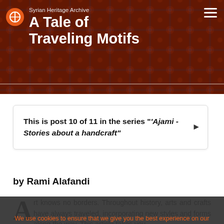Syrian Heritage Archive: A Tale of Traveling Motifs
This is post 10 of 11 in the series "'Ajami - Stories about a handcraft"
by Rami Alafandi
Art knows no borders. Throughout history, arts and crafts have always traveled, incorporating new styles and forms along the way. This article takes you
We use cookies to ensure that we give you the best experience on our website. If you continue to use this site we will assume that you are happy with it.